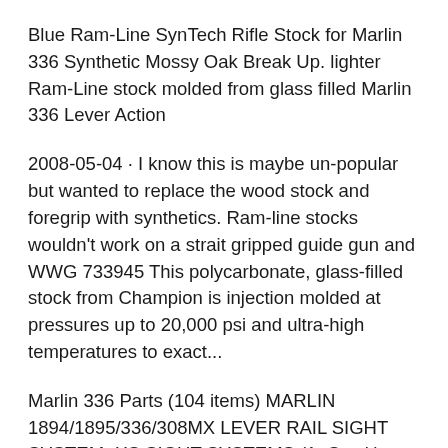Blue Ram-Line SynTech Rifle Stock for Marlin 336 Synthetic Mossy Oak Break Up. lighter Ram-Line stock molded from glass filled Marlin 336 Lever Action
2008-05-04 · I know this is maybe un-popular but wanted to replace the wood stock and foregrip with synthetics. Ram-line stocks wouldn't work on a strait gripped guide gun and WWG 733945 This polycarbonate, glass-filled stock from Champion is injection molded at pressures up to 20,000 psi and ultra-high temperatures to exact...
Marlin 336 Parts (104 items) MARLIN 1894/1895/336/308MX LEVER RAIL SIGHT SYSTEM- XS SIGHT SYSTEMS (1- Stock)